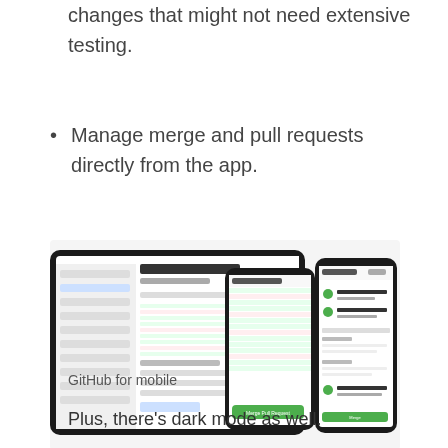changes that might not need extensive testing.
Manage merge and pull requests directly from the app.
[Figure (screenshot): GitHub for mobile app screenshots showing pull request list on tablet and merge view on two phones]
GitHub for mobile
Plus, there’s dark mode as well.